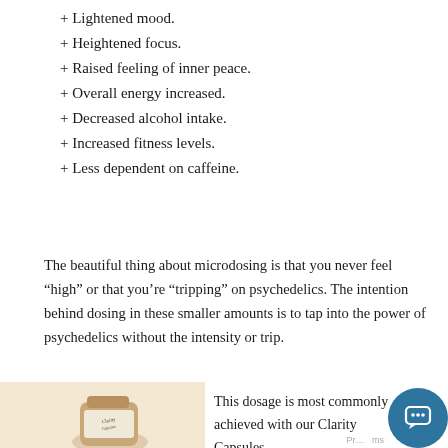+ Lightened mood.
+ Heightened focus.
+ Raised feeling of inner peace.
+ Overall energy increased.
+ Decreased alcohol intake.
+ Increased fitness levels.
+ Less dependent on caffeine.
The beautiful thing about microdosing is that you never feel “high” or that you’re “tripping” on psychedelics. The intention behind dosing in these smaller amounts is to tap into the power of psychedelics without the intensity or trip.
[Figure (photo): A bottle of Clarity Capsules on a warm beige/cream background, partially visible at the bottom of the page.]
This dosage is most commonly achieved with our Clarity Capsules.